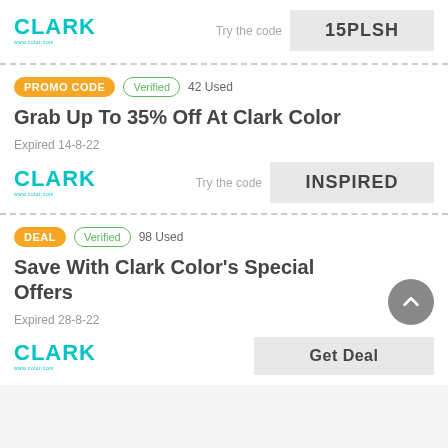[Figure (logo): Clark Color logo in teal/cyan]
Try the code
15PLSH
PROMO CODE   Verified   42 Used
Grab Up To 35% Off At Clark Color
Expired 14-8-22
[Figure (logo): Clark Color logo in teal/cyan]
Try the code
INSPIRED
DEAL   Verified   98 Used
Save With Clark Color's Special Offers
Expired 28-8-22
[Figure (logo): Clark Color logo in teal/cyan]
Get Deal